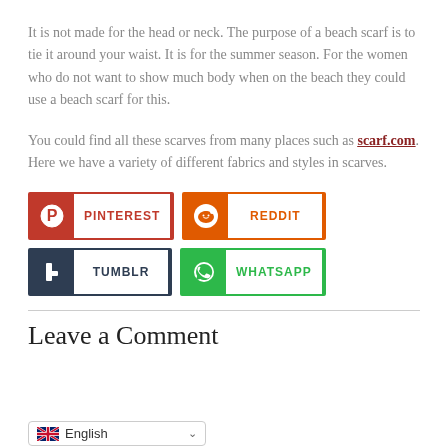It is not made for the head or neck. The purpose of a beach scarf is to tie it around your waist. It is for the summer season. For the women who do not want to show much body when on the beach they could use a beach scarf for this.
You could find all these scarves from many places such as scarf.com. Here we have a variety of different fabrics and styles in scarves.
[Figure (infographic): Social sharing buttons for Pinterest, Reddit, Tumblr, and WhatsApp]
Leave a Comment